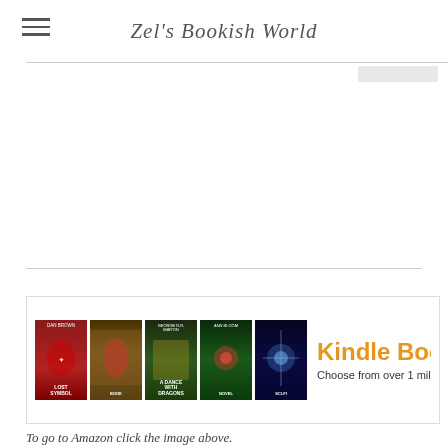Zel's Bookish World
[Figure (screenshot): Amazon Kindle Books advertisement banner showing five book covers (Dan Brown Lost Symbol, a book with a woman in red, George R.R. Martin A Dance with Dragons, Ann Bloom, and a sci-fi book) followed by the text 'Kindle Books' in orange and 'Choose from over 1 million Kindle bo...' in grey.]
To go to Amazon click the image above.